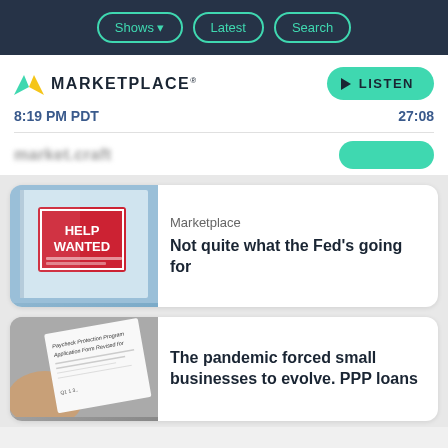Shows | Latest | Search
MARKETPLACE® 8:19 PM PDT 27:08
[Figure (screenshot): Help Wanted sign in a store window]
Marketplace
Not quite what the Fed's going for
[Figure (photo): PPP Paycheck Protection Program application form document]
The pandemic forced small businesses to evolve. PPP loans